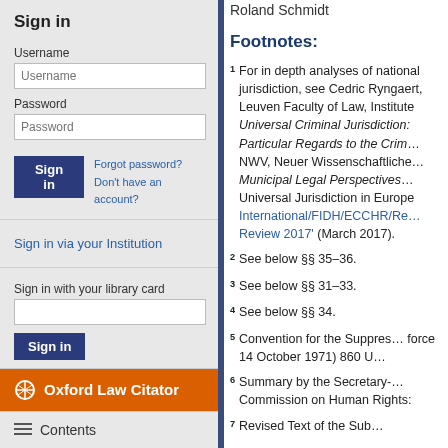Sign in
Username
Password
Forgot password? Don't have an account?
Sign in via your Institution
Sign in with your library card
Oxford Law Citator
Contents
Expand All [+] | Collapse All [-]
Sign up for alerts
Roland Schmidt
Footnotes:
1  For in depth analyses of national jurisdiction, see Cedric Rynga..., Leuven Faculty of Law, Institu... Universal Criminal Jurisdiction... Particular Regards to the Crim... NWV, Neuer Wissenschaftlich... Municipal Legal Perspectives... Universal Jurisdiction in Euro... International/FIDH/ECCHR/Re... Review 2017' (March 2017).
2  See below §§ 35–36.
3  See below §§ 31–33.
4  See below §§ 34.
5  Convention for the Suppres... force 14 October 1971) 860 U...
6  Summary by the Secretary-... Commission on Human Rights:
7  Revised Text of the Sub...